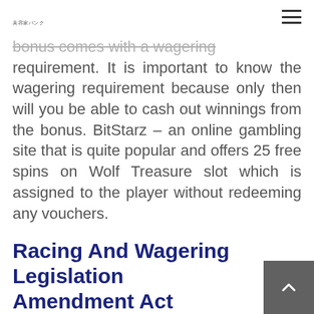美容家バンク
bonus comes with a wagering requirement. It is important to know the wagering requirement because only then will you be able to cash out winnings from the bonus. BitStarz – an online gambling site that is quite popular and offers 25 free spins on Wolf Treasure slot which is assigned to the player without redeeming any vouchers.
Racing And Wagering Legislation Amendment Act